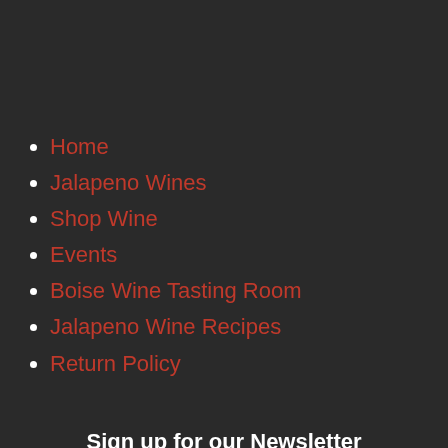Home
Jalapeno Wines
Shop Wine
Events
Boise Wine Tasting Room
Jalapeno Wine Recipes
Return Policy
Sign up for our Newsletter
First Name